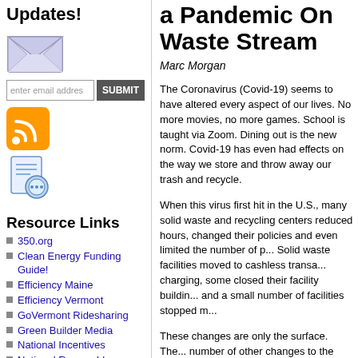Updates!
[Figure (illustration): Envelope icon for email updates]
enter email addres  SUBMIT
[Figure (illustration): RSS feed icon (orange)]
[Figure (illustration): Chat/document icon (blue)]
Resource Links
350.org
Clean Energy Funding Guide!
Efficiency Maine
Efficiency Vermont
GoVermont Ridesharing
Green Builder Media
National Incentives
National Renewable Energy Laboratory
Renewable Energy Vermont
Solar Energy . COM
Solar tax Incentives
a Pandemic On the Waste Stream
Marc Morgan
The Coronavirus (Covid-19) seems to have altered every aspect of our lives. No more movies, no more games. School is taught via Zoom. Dining out is the new norm. Covid-19 has even had effects on the way we store and throw away our trash and recycle.
When this virus first hit in the U.S., many solid waste and recycling centers reduced hours, changed their policies and even limited the number of people. Solid waste facilities moved to cashless transactions or stop charging, some closed their facility buildings to visitors, and a small number of facilities stopped m...
These changes are only the surface. There have been a number of other changes to the way waste has been managed since a pandemic was declared...
As an individual, you are seeing more single use. This rapid change is to protect public health. For example, reusable bags couldn't be used in NH. Some states prohibit the use of reusable bags, while others let stores bag their own purchases. Single-use coffee cups are on the rise; due to a concern for reusing travel mugs...